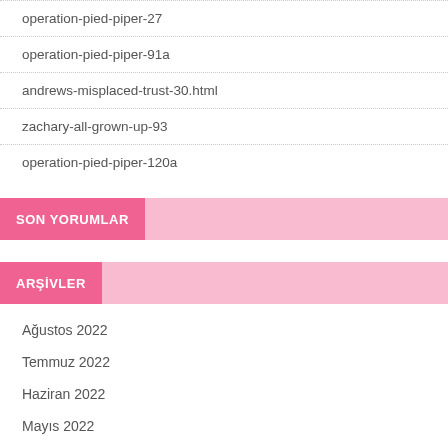operation-pied-piper-27
operation-pied-piper-91a
andrews-misplaced-trust-30.html
zachary-all-grown-up-93
operation-pied-piper-120a
SON YORUMLAR
ARŞİVLER
Ağustos 2022
Temmuz 2022
Haziran 2022
Mayıs 2022